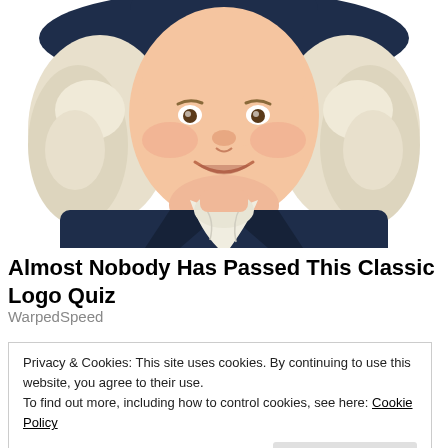[Figure (illustration): Illustration of the Quaker Oats man — a smiling, plump man with white curly hair, wearing a wide-brimmed navy hat and a navy jacket with a large white ruffled cravat at the neck. The image is cropped at the chest level.]
Almost Nobody Has Passed This Classic Logo Quiz
WarpedSpeed
Privacy & Cookies: This site uses cookies. By continuing to use this website, you agree to their use.
To find out more, including how to control cookies, see here: Cookie Policy
Close and accept